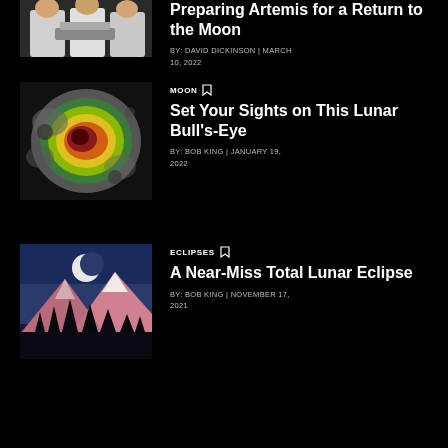[Figure (photo): Scientists in white lab coats working on space hardware, partially cropped at top]
Preparing Artemis for a Return to the Moon
BY: DAVID DICKINSON | MARCH 10, 2022
[Figure (photo): Colorful topographic radar image of a lunar crater with heat map colors (red, yellow, green)]
MOON
Set Your Sights on This Lunar Bull's-Eye
BY: BOB KING | JANUARY 19, 2022
[Figure (photo): Moon rising over snow-capped pink mountain peaks with dark trees silhouetted in foreground against blue sky]
ECLIPSES
A Near-Miss Total Lunar Eclipse
BY: BOB KING | NOVEMBER 17, 2021